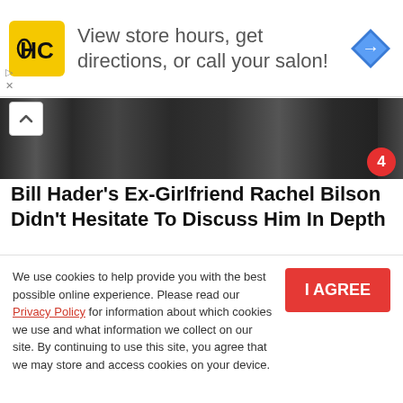[Figure (screenshot): HC (Hair Club) logo in yellow square with black text]
View store hours, get directions, or call your salon!
[Figure (illustration): Blue diamond navigation arrow icon]
[Figure (photo): Top photo strip showing dark background with people silhouettes, partially visible]
Bill Hader's Ex-Girlfriend Rachel Bilson Didn't Hesitate To Discuss Him In Depth
[Figure (photo): Two-panel photo: left panel shows a woman with long blonde hair, right panel shows a woman with dark hair in sunglasses]
We use cookies to help provide you with the best possible online experience. Please read our Privacy Policy for information about which cookies we use and what information we collect on our site. By continuing to use this site, you agree that we may store and access cookies on your device.